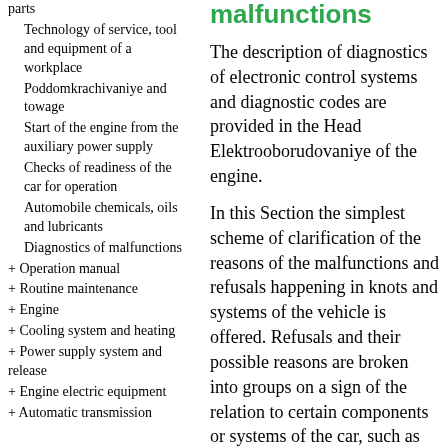Malfunctions
parts
Technology of service, tool and equipment of a workplace
Poddomkrachivaniye and towage
Start of the engine from the auxiliary power supply
Checks of readiness of the car for operation
Automobile chemicals, oils and lubricants
Diagnostics of malfunctions
+ Operation manual
+ Routine maintenance
+ Engine
+ Cooling system and heating
+ Power supply system and release
+ Engine electric equipment
+ Automatic transmission
The description of diagnostics of electronic control systems and diagnostic codes are provided in the Head Elektrooborudovaniye of the engine.
In this Section the simplest scheme of clarification of the reasons of the malfunctions and refusals happening in knots and systems of the vehicle is offered. Refusals and their possible reasons are broken into groups on a sign of the relation to certain components or systems of the car, such as the engine, the cooling system, etc., besides, in the text references to Chapters and